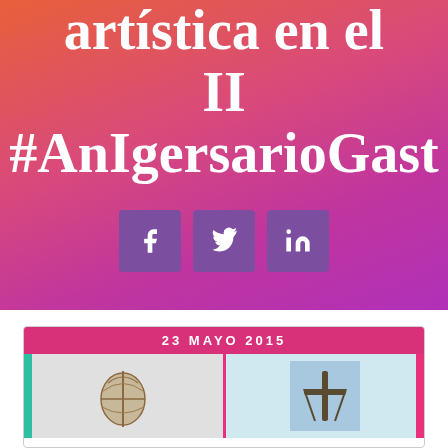artística en el II #AnIgersarioGast...
[Figure (infographic): Social share buttons: Facebook, Twitter, LinkedIn — purple rounded square icons on gradient background]
[Figure (infographic): Card with magenta date bar reading '23 MAYO 2015' and two photos below — left shows a woven/craft object on light background, right shows a cross/structure against blue sky]